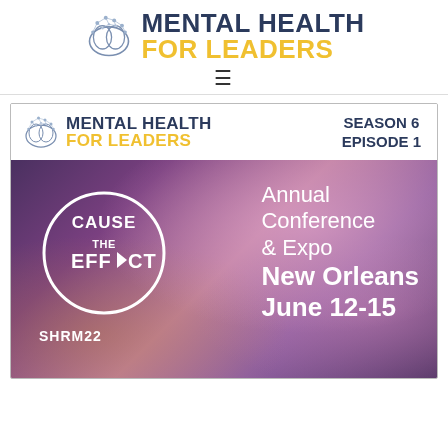[Figure (logo): Mental Health For Leaders logo with brain icon - large version at top of page]
[Figure (logo): Mental Health For Leaders logo with brain icon - smaller version inside card, with SEASON 6 EPISODE 1 label on right]
[Figure (illustration): SHRM22 Annual Conference & Expo event banner with colorful smoke background. Text: CAUSE THE EFFECT in circle, SHRM22, Annual Conference & Expo, New Orleans, June 12-15]